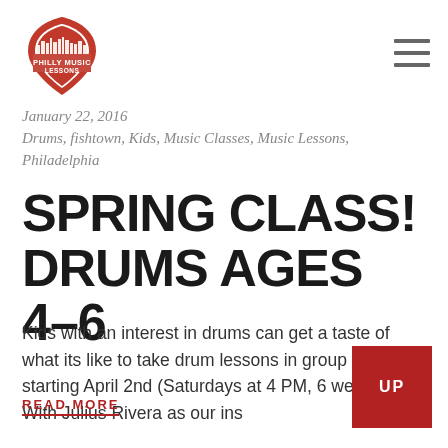[Figure (logo): Philly Music Lessons logo — red guitar pick shield shape with cityscape silhouette and text 'PHILLY MUSIC LESSONS']
January 22, 2016
Drums, fishtown, Kids, Music Classes, Music Lessons, Philadelphia
SPRING CLASS! DRUMS AGES 4–6
Kids with an interest in drums can get a taste of what its like to take drum lessons in group classes starting April 2nd (Saturdays at 4 PM, 6 weeks). With Julius Rivera as our ins
READ MORE
UP